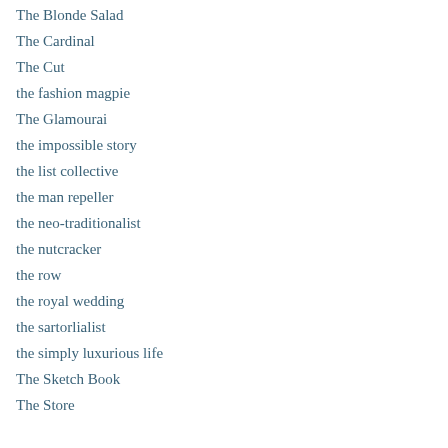The Blonde Salad
The Cardinal
The Cut
the fashion magpie
The Glamourai
the impossible story
the list collective
the man repeller
the neo-traditionalist
the nutcracker
the row
the royal wedding
the sartorlialist
the simply luxurious life
The Sketch Book
The Store